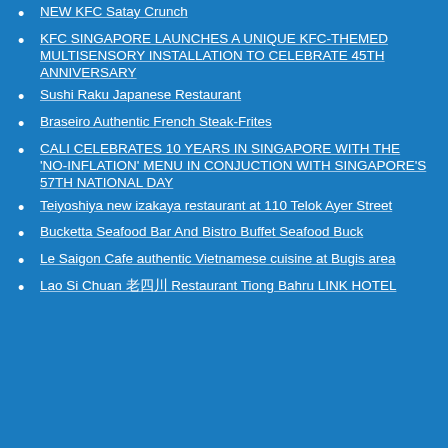NEW KFC Satay Crunch
KFC SINGAPORE LAUNCHES A UNIQUE KFC-THEMED MULTISENSORY INSTALLATION TO CELEBRATE 45TH ANNIVERSARY
Sushi Raku Japanese Restaurant
Braseiro Authentic French Steak-Frites
CALI CELEBRATES 10 YEARS IN SINGAPORE WITH THE 'NO-INFLATION' MENU IN CONJUCTION WITH SINGAPORE'S 57TH NATIONAL DAY
Teiyoshiya new izakaya restaurant at 110 Telok Ayer Street
Bucketta Seafood Bar And Bistro Buffet Seafood Buck
Le Saigon Cafe authentic Vietnamese cuisine at Bugis area
Lao Si Chuan 老四川 Restaurant Tiong Bahru LINK HOTEL